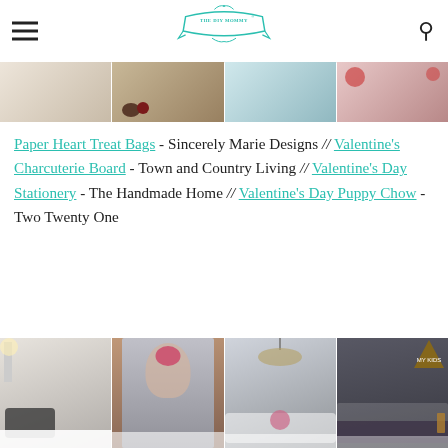THE DIY MOMMY
[Figure (photo): Four thumbnail images in a horizontal strip showing Valentine's Day themed items: paper treat bags, charcuterie board, teal/blue item, and floral arrangement]
Paper Heart Treat Bags - Sincerely Marie Designs // Valentine's Charcuterie Board - Town and Country Living // Valentine's Day Stationery - The Handmade Home // Valentine's Day Puppy Chow - Two Twenty One
[Figure (photo): Four thumbnail images in a horizontal strip showing home decor: living room with lamp, refrigerator with floral wreath, dining room with chandelier, dark bedroom with triangle pennant]